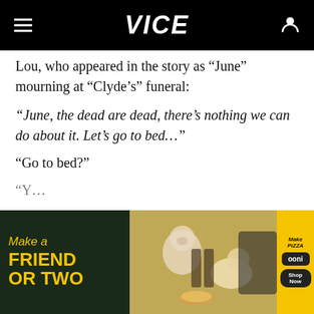VICE
Lou, who appeared in the story as “June” mourning at “Clyde’s” funeral:
“June, the dead are dead, there’s nothing we can do about it. Let’s go to bed…”
“Go to bed?”
[Figure (photo): Advertisement banner: Ooni pizza oven ad showing 'Make a Friend or Two' on left in yellow text on dark background, center shows a picnic scene with a dog, right panel in yellow shows 'Make Pizza' branding with Ooni logo and Shop Now button]